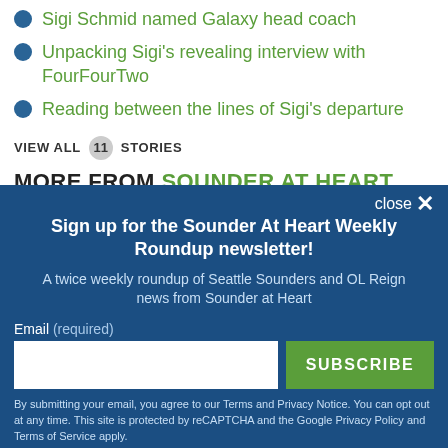Sigi Schmid named Galaxy head coach
Unpacking Sigi's revealing interview with FourFourTwo
Reading between the lines of Sigi's departure
VIEW ALL 11 STORIES
MORE FROM SOUNDER AT HEART
Sign up for the Sounder At Heart Weekly Roundup newsletter!
A twice weekly roundup of Seattle Sounders and OL Reign news from Sounder at Heart
Email (required)
SUBSCRIBE
By submitting your email, you agree to our Terms and Privacy Notice. You can opt out at any time. This site is protected by reCAPTCHA and the Google Privacy Policy and Terms of Service apply.